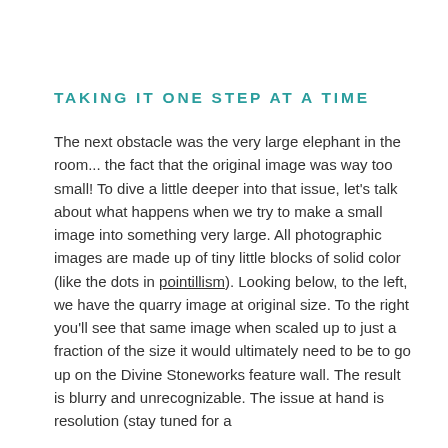TAKING IT ONE STEP AT A TIME
The next obstacle was the very large elephant in the room... the fact that the original image was way too small! To dive a little deeper into that issue, let's talk about what happens when we try to make a small image into something very large. All photographic images are made up of tiny little blocks of solid color (like the dots in pointillism). Looking below, to the left, we have the quarry image at original size. To the right you'll see that same image when scaled up to just a fraction of the size it would ultimately need to be to go up on the Divine Stoneworks feature wall. The result is blurry and unrecognizable. The issue at hand is resolution (stay tuned for a